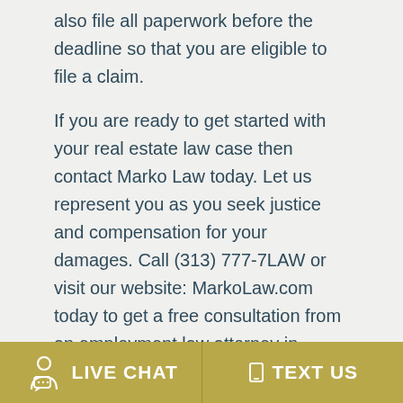also file all paperwork before the deadline so that you are eligible to file a claim.
If you are ready to get started with your real estate law case then contact Marko Law today. Let us represent you as you seek justice and compensation for your damages. Call (313) 777-7LAW or visit our website: MarkoLaw.com today to get a free consultation from an employment law attorney in Dearborn, Michigan.
LIVE CHAT   TEXT US